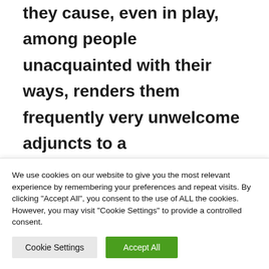they cause, even in play, among people unacquainted with their ways, renders them frequently very unwelcome adjuncts to a neighborhood. In addition to their power and size, they have a rather excitable and impatient disposition, which unfits them at once as children playmates
We use cookies on our website to give you the most relevant experience by remembering your preferences and repeat visits. By clicking "Accept All", you consent to the use of ALL the cookies. However, you may visit "Cookie Settings" to provide a controlled consent.